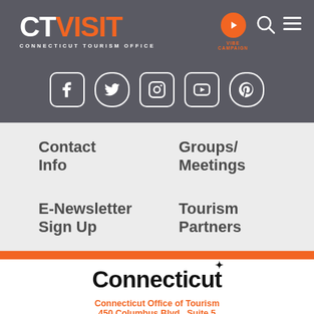[Figure (logo): CTVisit Connecticut Tourism Office logo with orange VISIT text on dark gray header bar]
[Figure (logo): Vibe Campaign orange circle play button icon with label]
[Figure (infographic): Social media icons: Facebook, Twitter, Instagram, YouTube, Pinterest on dark gray bar]
Contact Info
Groups/ Meetings
E-Newsletter Sign Up
Tourism Partners
[Figure (logo): Connecticut state logo in bold black text with star accent]
Connecticut Office of Tourism
450 Columbus Blvd., Suite 5